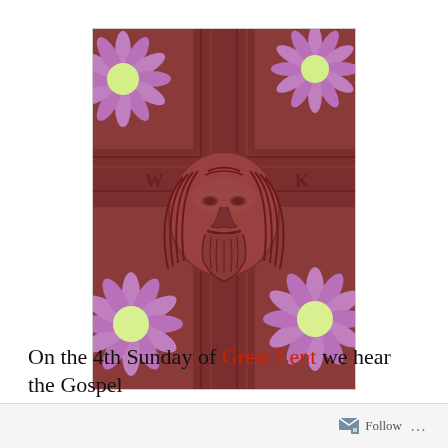[Figure (photo): A carved wooden cross with the face of Jesus Christ in relief at its center, surrounded by purple and white chrysanthemum flowers against a reddish-brown wood background.]
On the 4th Sunday of Great Lent we hear the Gospel
Follow